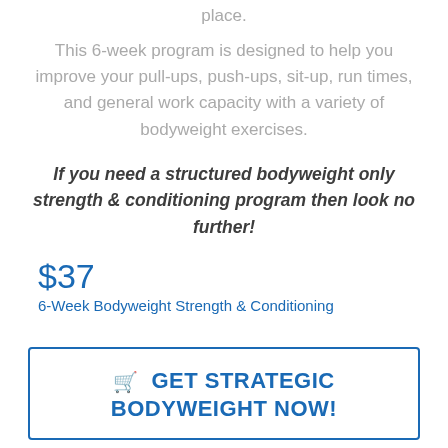place.
This 6-week program is designed to help you improve your pull-ups, push-ups, sit-up, run times, and general work capacity with a variety of bodyweight exercises.
If you need a structured bodyweight only strength & conditioning program then look no further!
$37
6-Week Bodyweight Strength & Conditioning
GET STRATEGIC BODYWEIGHT NOW!